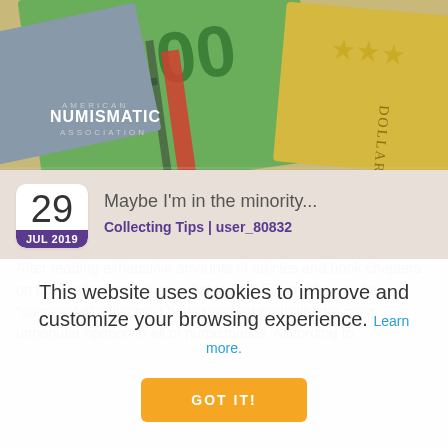[Figure (photo): Australian banknotes (100 dollar bills and other denominations) fanned out, with American Numismatic Association logo visible]
29
JUL 2019
Maybe I'm in the minority...
Collecting Tips | user_80832
After reading exhaustive amounts of articles and book chapters on coin collecting basics, what to look for, and how to be a "successful" collector, I have reached probably the most unpopular opinion in all of numismatics. According to
This website uses cookies to improve and customize your browsing experience. Learn more.
GOT IT!